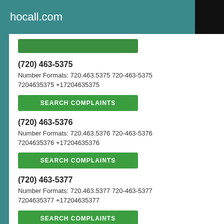hocall.com
(720) 463-5375
Number Formats: 720.463.5375 720-463-5375 7204635375 +17204635375
SEARCH COMPLAINTS
(720) 463-5376
Number Formats: 720.463.5376 720-463-5376 7204635376 +17204635376
SEARCH COMPLAINTS
(720) 463-5377
Number Formats: 720.463.5377 720-463-5377 7204635377 +17204635377
SEARCH COMPLAINTS